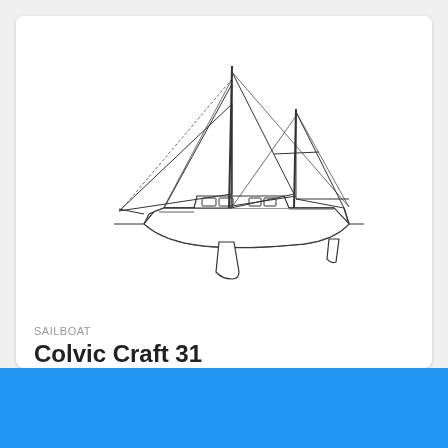[Figure (illustration): Line drawing / schematic illustration of a ketch-rigged sailboat (Colvic Craft 31) shown in profile view. The boat has two masts, multiple sails, a cabin with portholes and windows, a bowsprit, and a fin keel with a rudder. The drawing is in black ink on white background.]
SAILBOAT
Colvic Craft 31
1972 • 9.5 m